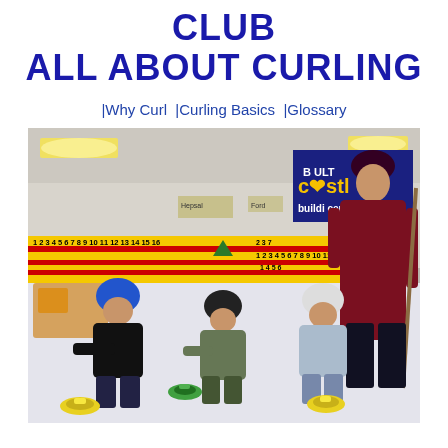CLUB
ALL ABOUT CURLING
|Why Curl |Curling Basics |Glossary
[Figure (photo): Children wearing helmets learning to curl on an indoor curling rink, supervised by an adult. Scoreboard visible in background along with advertisements including 'Castle building centre'. Curling stones (yellow and green) are on the ice.]